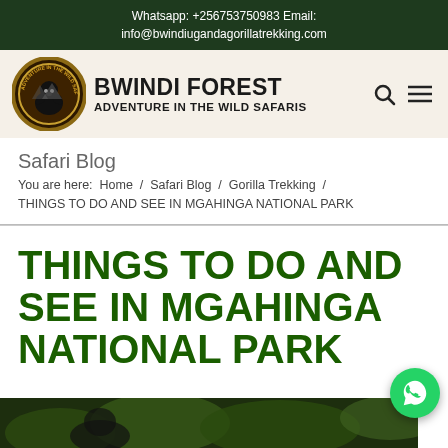Whatsapp: +256753750983 Email: info@bwindiugandagorillatrekking.com
[Figure (logo): Bwindi Forest Adventure in the Wild Safaris circular logo with gorilla illustration, brown and gold border]
BWINDI FOREST ADVENTURE IN THE WILD SAFARIS
Safari Blog
You are here: Home / Safari Blog / Gorilla Trekking / THINGS TO DO AND SEE IN MGAHINGA NATIONAL PARK
THINGS TO DO AND SEE IN MGAHINGA NATIONAL PARK
[Figure (photo): Bottom strip showing a partial photo of a gorilla in green foliage in Mgahinga National Park]